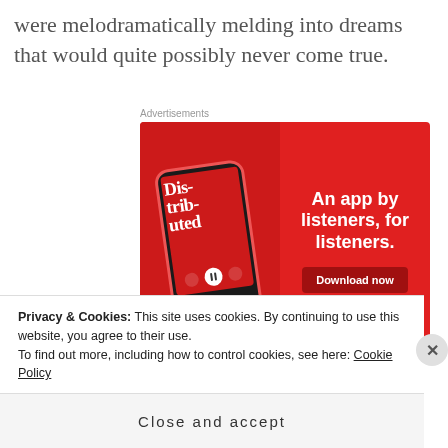were melodramatically melding into dreams that would quite possibly never come true.
Advertisements
[Figure (screenshot): Advertisement for a podcast listening app showing a smartphone displaying a podcast called 'Distributed', with text 'An app by listeners, for listeners.' and a 'Download now' button on a red background.]
Privacy & Cookies: This site uses cookies. By continuing to use this website, you agree to their use. To find out more, including how to control cookies, see here: Cookie Policy
Close and accept